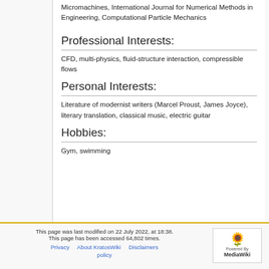Micromachines, International Journal for Numerical Methods in Engineering, Computational Particle Mechanics
Professional Interests:
CFD, multi-physics, fluid-structure interaction, compressible flows
Personal Interests:
Literature of modernist writers (Marcel Proust, James Joyce), literary translation, classical music, electric guitar
Hobbies:
Gym, swimming
This page was last modified on 22 July 2022, at 18:38. This page has been accessed 64,802 times. Privacy policy   About KratosWiki   Disclaimers